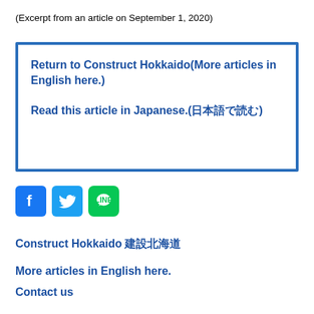(Excerpt from an article on September 1, 2020)
Return to Construct Hokkaido(More articles in English here.)
Read this article in Japanese.(日本語で読む)
[Figure (infographic): Social media icons: Facebook (blue), Twitter (light blue), LINE (green)]
Construct Hokkaido 建設北海道
More articles in English here.
Contact us